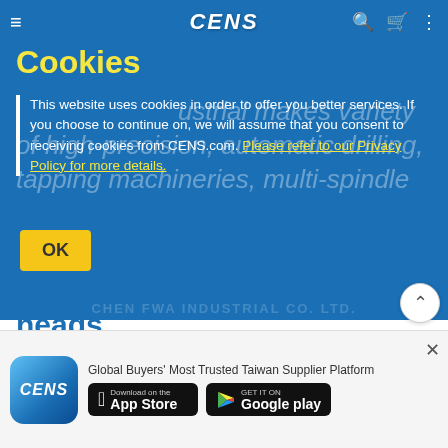CENS
Cookies
This website uses cookies in order to offer you better services. If you choose to continue on, we will assume that you consent to receiving cookies from CENS.com. Please refer to our Privacy Policy for more details.
OK
heads
Sep 13, 2021
Chen Fwa Industrial Co., Ltd., founded in 1964, has released a variety of high-precision, automatic drilling machines, tapping machines and drill bits, which are...
Global Buyers' Most Trusted Taiwan Supplier Platform
[Figure (logo): CENS app icon - blue gradient circle with CENS text and globe]
Download on the App Store
GET IT ON Google play